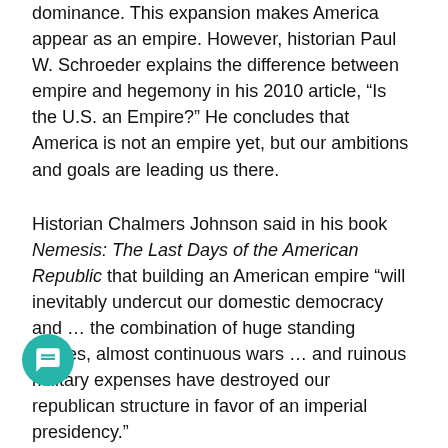dominance. This expansion makes America appear as an empire. However, historian Paul W. Schroeder explains the difference between empire and hegemony in his 2010 article, “Is the U.S. an Empire?” He concludes that America is not an empire yet, but our ambitions and goals are leading us there.
Historian Chalmers Johnson said in his book Nemesis: The Last Days of the American Republic that building an American empire “will inevitably undercut our domestic democracy and … the combination of huge standing armies, almost continuous wars … and ruinous military expenses have destroyed our republican structure in favor of an imperial presidency.”
On these bases, Johnson argues American imperialism is paving a path to empire, and that democracy and empire are mutually exclusive.
America’s imperial tendencies appear to be manufactured by